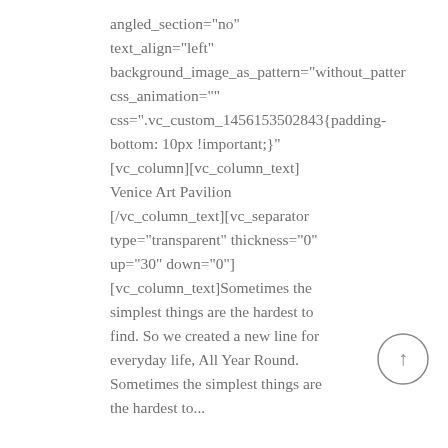angled_section="no"
text_align="left"
background_image_as_pattern="without_patter
css_animation=""
css=".vc_custom_1456153502843{padding-bottom: 10px !important;}"
[vc_column][vc_column_text]
Venice Art Pavilion
[/vc_column_text][vc_separator type="transparent" thickness="0" up="30" down="0"]
[vc_column_text]Sometimes the simplest things are the hardest to find. So we created a new line for everyday life, All Year Round. Sometimes the simplest things are the hardest to...
[Figure (illustration): A circular button with an upward-pointing arrow (back to top button)]